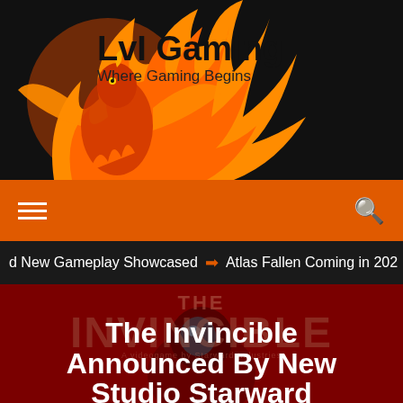[Figure (logo): LVL Gaming logo with phoenix flame illustration on black background, text 'LVL Gaming' and tagline 'Where Gaming Begins']
LVL Gaming — Where Gaming Begins
≡    🔍
d New Gameplay Showcased ⊙ Atlas Fallen Coming in 202
[Figure (photo): The Invincible game promotional image with astronaut figure on dark red background, watermark text 'THE INVINCIBLE — A videogame by Starward Industries']
The Invincible Announced By New Studio Starward